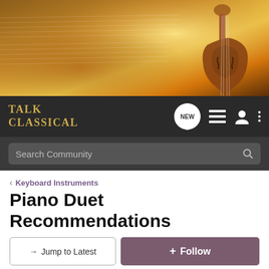[Figure (photo): Hero banner image showing a violin and sheet music with warm golden/amber lighting]
TALK CLASSICAL
Search Community
< Keyboard Instruments
Piano Duet Recommendations
→ Jump to Latest
+ Follow
1 - 18 of 18 Posts
Matsps · Registered
Joined Jan 13, 2014 · 187 Posts